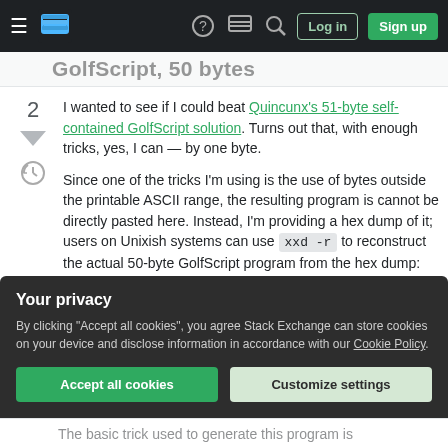Stack Exchange navigation bar with Log in and Sign up buttons
GolfScript, 50 bytes (partial title)
2
I wanted to see if I could beat Quincunx's 51-byte self-contained GolfScript solution. Turns out that, with enough tricks, yes, I can — by one byte.
Since one of the tricks I'm using is the use of bytes outside the printable ASCII range, the resulting program is cannot be directly pasted here. Instead, I'm providing a hex dump of it; users on Unixish systems can use xxd -r to reconstruct the actual 50-byte GolfScript program from the hex dump:
Your privacy
By clicking "Accept all cookies", you agree Stack Exchange can store cookies on your device and disclose information in accordance with our Cookie Policy.
Accept all cookies
Customize settings
The basic trick used to generate this program is (partial)